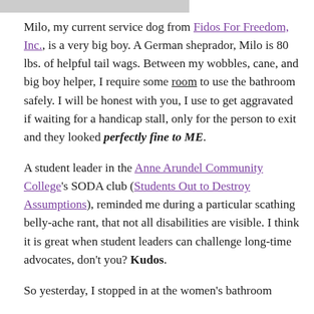[Figure (photo): Partial bottom edge of a photo at the top of the page]
Milo, my current service dog from Fidos For Freedom, Inc., is a very big boy. A German sheprador, Milo is 80 lbs. of helpful tail wags. Between my wobbles, cane, and big boy helper, I require some room to use the bathroom safely. I will be honest with you, I use to get aggravated if waiting for a handicap stall, only for the person to exit and they looked perfectly fine to ME.
A student leader in the Anne Arundel Community College's SODA club (Students Out to Destroy Assumptions), reminded me during a particular scathing belly-ache rant, that not all disabilities are visible. I think it is great when student leaders can challenge long-time advocates, don't you? Kudos.
So yesterday, I stopped in at the women's bathroom